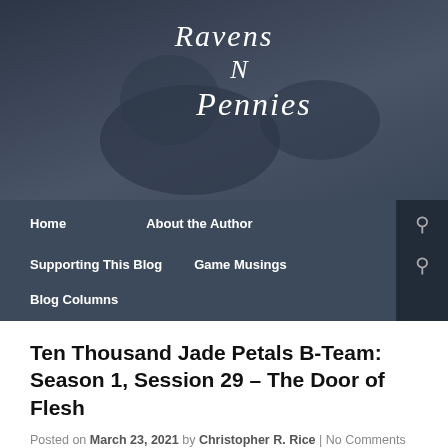[Figure (logo): Ravens N Pennies blog logo — dark blue-grey banner with cats silhouettes and cursive/script text reading 'Ravens N Pennies']
Home   About the Author   Supporting This Blog   Game Musings   Blog Columns
Ten Thousand Jade Petals B-Team: Season 1, Session 29 – The Door of Flesh
Posted on March 23, 2021 by Christopher R. Rice | No Comments